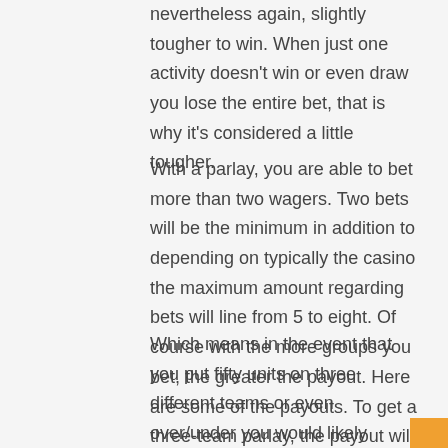nevertheless again, slightly tougher to win. When just one activity doesn't win or even draw you lose the entire bet, that is why it's considered a little tougher.
With a parlay, you are able to bet more than two wagers. Two bets will be the minimum in addition to depending on typically the casino the maximum amount regarding bets will line from 5 to eight. Of course with the more groups you bet, the greater the payout. Here are some of the payouts. To get a three-team parlay, the payout will be 6 to a single plus you unique bet.
Which means in the event that you put fifty units on three different teams or even over/under you would likely return 300 models plus your original fifty. For the four-team parlay the payout is usually 10-1 ...